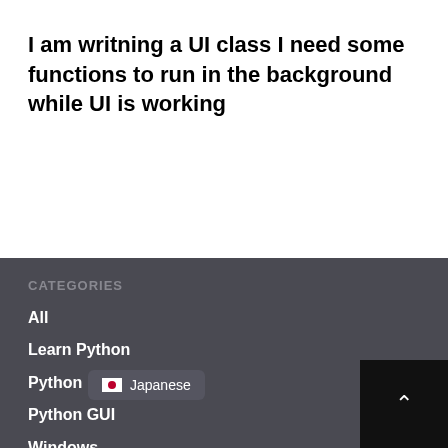I am writning a UI class I need some functions to run in the background while UI is working
CATEGORIES
All
Learn Python
Python
Python GUI
Windows
USE
Japanese